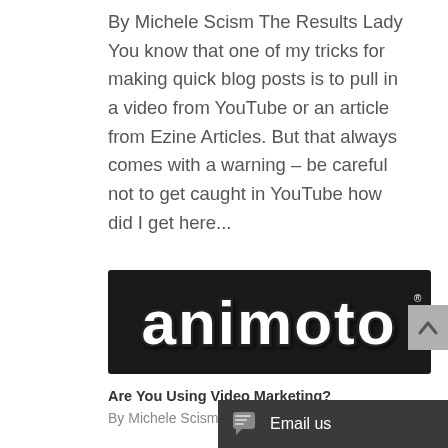By Michele Scism The Results Lady You know that one of my tricks for making quick blog posts is to pull in a video from YouTube or an article from Ezine Articles. But that always comes with a warning – be careful not to get caught in YouTube how did I get here...
[Figure (logo): Animoto logo on dark background — black rectangle with the word 'animoto' in bold white bubble letters with dark outline]
Are You Using Video Marketing?
By Michele Scism The R...